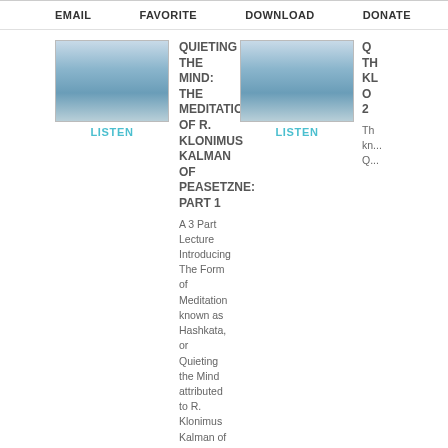EMAIL   FAVORITE   DOWNLOAD   DONATE
[Figure (photo): Calm ocean/water horizon image - thumbnail for Quieting the Mind Part 1]
QUIETING THE MIND: THE MEDITATION OF R. KLONIMUS KALMAN OF PEASETZNE: PART 1
A 3 Part Lecture Introducing The Form of Meditation known as Hashkata, or Quieting the Mind attributed to R. Klonimus Kalman of Peasetzne by Rav DovBer
[Figure (photo): Calm ocean/water horizon image - thumbnail for Quieting the Mind Part 2]
QUIETING THE MIND: THE MEDITATION OF R. KLONIMUS KALMAN OF PEASETZNE: PART 2
The ... kn... Qu...
[Figure (photo): Blue brain with gears illustration - thumbnail for Clearing the Mind Part 1]
CLEARING THE MIND: ERADICATING NEGATIVE THOUGHT PATTERNS: PART 1
The practices and meditations of kabbalists throughout the ages as it pertains to the discipline of eradicating negative thought patterns.
[Figure (photo): Blue brain with gears illustration - thumbnail for Clearing the Mind Part 2]
CLEARING THE MIND: ERADICATING NEGATIVE THOUGHT PATTERNS: PART 2
Th... m... th... pe... er... pa...